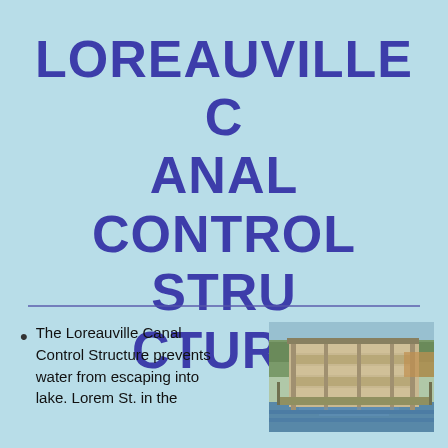LOREAUVILLE CANAL CONTROL STRUCTURE
The Loreauville Canal Control Structure prevents water from escaping into
[Figure (photo): Photograph of the Loreauville Canal Control Structure showing horizontal gate slats/panels and water channel with surrounding vegetation]